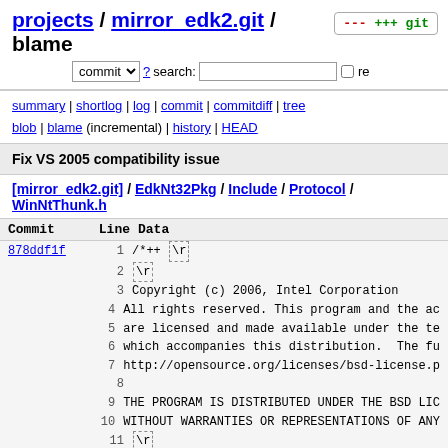projects / mirror_edk2.git / blame
commit ▾ ? search:  re
summary | shortlog | log | commit | commitdiff | tree
blob | blame (incremental) | history | HEAD
Fix VS 2005 compatibility issue
[mirror_edk2.git] / EdkNt32Pkg / Include / Protocol / WinNtThunk.h
| Commit | Line | Data |
| --- | --- | --- |
| 878ddf1f | 1 | /*++ \r |
|  | 2 | \r |
|  | 3 | Copyright (c) 2006, Intel Corporation |
|  | 4 | All rights reserved. This program and the ac |
|  | 5 | are licensed and made available under the te |
|  | 6 | which accompanies this distribution.  The fu |
|  | 7 | http://opensource.org/licenses/bsd-license.p |
|  | 8 |  |
|  | 9 | THE PROGRAM IS DISTRIBUTED UNDER THE BSD LIC |
|  | 10 | WITHOUT WARRANTIES OR REPRESENTATIONS OF ANY |
|  | 11 | \r |
|  | 12 | Module Name: \r |
|  | 13 | \r |
|  | 14 |   WinNtThunk.h \r |
|  | 15 | \r |
|  | 16 | Abstract: \r |
|  | 17 | \r |
|  | 18 |   This protocol allows an EFI driver (DLL) |